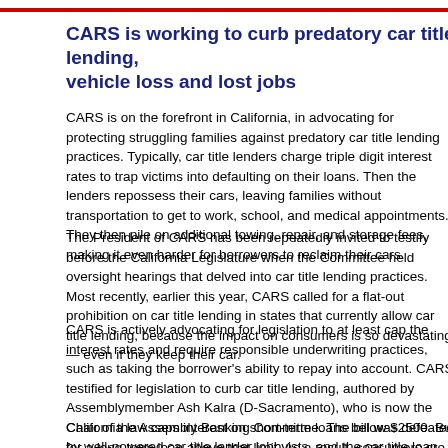CARS is working to curb predatory car title lending, vehicle loss and lost jobs
CARS is on the forefront in California, in advocating for protecting struggling families against predatory car title lending practices. Typically, car title lenders charge triple digit interest rates to trap victims into defaulting on their loans. Then the lenders repossess their cars, leaving families without transportation to get to work, school, and medical appointments. They then pile on additional towing, repair, and storage fees, making it even harder for borrowers to reclaim their cars.
The President of CARS has been repeatedly invited to testify before the California Legislature when the Committee held oversight hearings that delved into car title lending practices. Most recently, earlier this year, CARS called for a flat-out prohibition on car title lending in states that currently allow car title lending, because the impact on consumers is so devastating — even if they keep their car.
CARS is actively advocating for legislation to at least cap the interest rates and require responsible underwriting practices, such as taking the borrower's ability to repay into account. CARS testified for legislation to curb car title lending, authored by Assemblymember Ash Kalra (D-Sacramento), who is now the Chair of the Assembly Banking Committee. The bill was defeated by well-powered car title lender lobbyists, and the car title loan industry's trade association.
California law caps interest on short-term loans below $2500. But for a loan above that limit. As a result, consumers are often tricked into getting bigger loans th